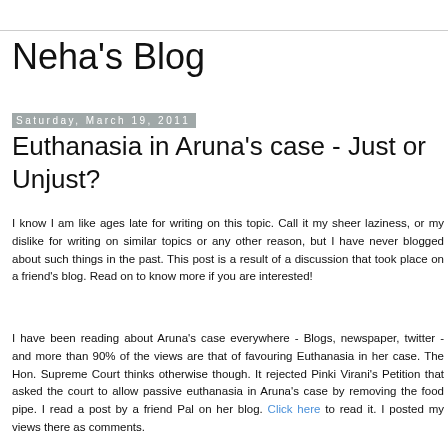Neha's Blog
Saturday, March 19, 2011
Euthanasia in Aruna's case - Just or Unjust?
I know I am like ages late for writing on this topic. Call it my sheer laziness, or my dislike for writing on similar topics or any other reason, but I have never blogged about such things in the past. This post is a result of a discussion that took place on a friend's blog. Read on to know more if you are interested!
I have been reading about Aruna's case everywhere - Blogs, newspaper, twitter - and more than 90% of the views are that of favouring Euthanasia in her case. The Hon. Supreme Court thinks otherwise though. It rejected Pinki Virani's Petition that asked the court to allow passive euthanasia in Aruna's case by removing the food pipe. I read a post by a friend Pal on her blog. Click here to read it. I posted my views there as comments.